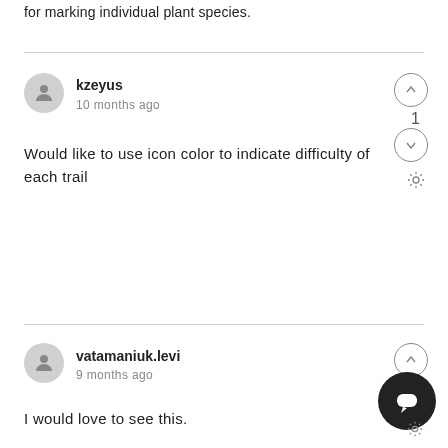for marking individual plant species.
kzeyus
10 months ago
Would like to use icon color to indicate difficulty of each trail
vatamaniuk.levi
9 months ago
I would love to see this.